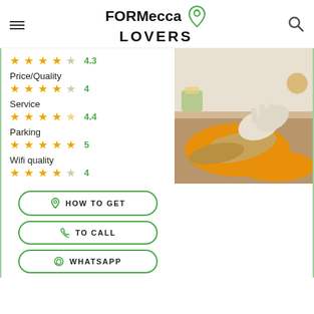FORMecca LOVERS
4.3 (stars: 4.5 shown, rating 4.3)
Price/Quality
4 (stars: 4 shown)
Service
4.4 (stars: 4.5 shown)
Parking
5 (stars: 5 shown)
Wifi quality
4 (stars: 4 shown)
[Figure (photo): A person wearing gloves rolling a burrito/wrap on a wooden board in a kitchen setting]
HOW TO GET
TO CALL
WHATSAPP